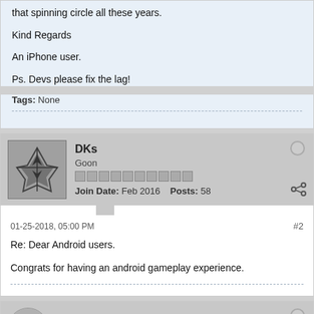that spinning circle all these years.
Kind Regards
An iPhone user.
Ps. Devs please fix the lag!
Tags: None
DKs
Goon
Join Date: Feb 2016   Posts: 58
01-25-2018, 05:00 PM
#2
Re: Dear Android users.
Congrats for having an android gameplay experience.
NutzOfDeez
Brawler